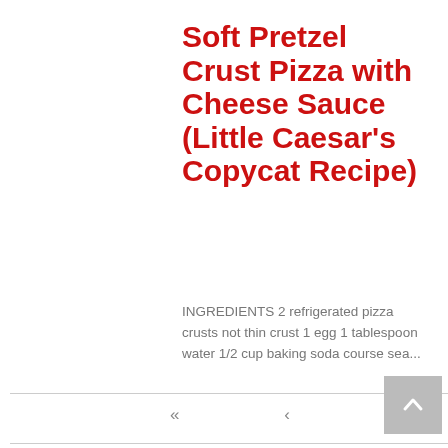Soft Pretzel Crust Pizza with Cheese Sauce (Little Caesar's Copycat Recipe)
INGREDIENTS 2 refrigerated pizza crusts not thin crust 1 egg 1 tablespoon water 1/2 cup baking soda course sea…
<< < 1/4 > >>